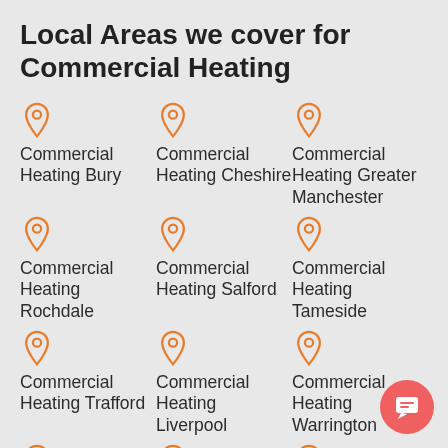Local Areas we cover for Commercial Heating
Commercial Heating Bury
Commercial Heating Cheshire
Commercial Heating Greater Manchester
Commercial Heating Rochdale
Commercial Heating Salford
Commercial Heating Tameside
Commercial Heating Trafford
Commercial Heating Liverpool
Commercial Heating Warrington
Commercial
Commercial
Commercial